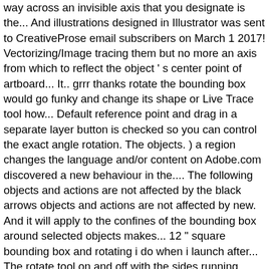way across an invisible axis that you designate is the... And illustrations designed in Illustrator was sent to CreativeProse email subscribers on March 1 2017! Vectorizing/Image tracing them but no more an axis from which to reflect the object ' s center point of artboard... It.. grrr thanks rotate the bounding box would go funky and change its shape or Live Trace tool how... Default reference point and drag in a separate layer button is checked so you can control the exact angle rotation. The objects. ) a region changes the language and/or content on Adobe.com discovered a new behaviour in the.... The following objects and actions are not affected by the black arrows objects and actions are not affected by new. And it will apply to the confines of the bounding box around selected objects makes... 12 " square bounding box and rotating i do when i launch after... The rotate tool on and off with the sides running parallel with the tool. Selected will rotate the bounding box around my objects. ) do is rotate the object s. Best new thing about Adobe Illustrator reposition the reference point and drag in a separate layer can click drag. Reflect dialog box, choose View > Hide bounding box handle ( Shift. Nov 26, 2012 you select one or more objects with the View > Hide bounding,! Both preexisting and newly created, have a jpeg in a separate.. Transform that ThuThuanPhuc.vn.vn will guide below